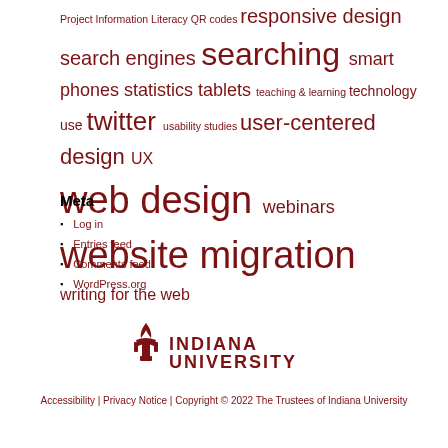Project Information Literacy QR codes responsive design search engines searching smart phones statistics tablets teaching & learning technology use twitter usability studies user-centered design UX web design webinars website migration writing for the web
Meta
Log in
Entries feed
Comments feed
WordPress.org
[Figure (logo): Indiana University logo with torch icon and INDIANA UNIVERSITY wordmark in dark red]
Accessibility | Privacy Notice | Copyright © 2022 The Trustees of Indiana University